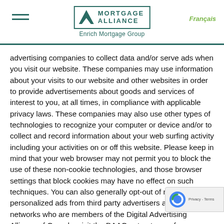Mortgage Alliance – Enrich Mortgage Group | Français
advertising companies to collect data and/or serve ads when you visit our website. These companies may use information about your visits to our website and other websites in order to provide advertisements about goods and services of interest to you, at all times, in compliance with applicable privacy laws. These companies may also use other types of technologies to recognize your computer or device and/or to collect and record information about your web surfing activity including your activities on or off this website. Please keep in mind that your web browser may not permit you to block the use of these non-cookie technologies, and those browser settings that block cookies may have no effect on such techniques. You can also generally opt-out of receiving personalized ads from third party advertisers and ad networks who are members of the Digital Advertising Alliance of Canada. visit the DAAC opt-out page for more information including if you would like more information about this practice and to know your choices about not